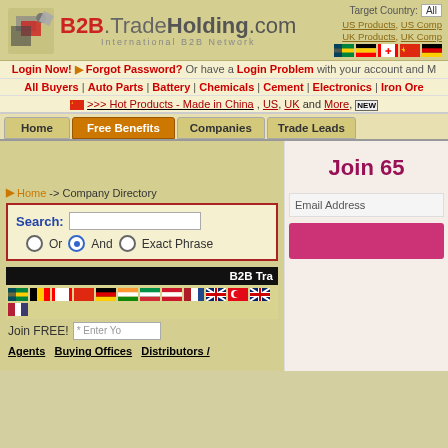[Figure (logo): B2B.TradeHolding.com International B2B Network logo with icon]
Target Country: All
US Products, US Companies, UK Products, UK Companies
Login Now! > Forgot Password? Or have a Login Problem with your account and
All Buyers | Auto Parts | Battery | Chemicals | Cement | Electronics | Iron Ore
>>> Hot Products - Made in China , US, UK and More, NEW
Home | Free Benefits | Companies | Trade Leads
Home -> Company Directory
Search: Or And Exact Phrase
B2B Tra
Join FREE! * Enter Yo
Agents Buying Offices Distributors /
Join 65
Email Address